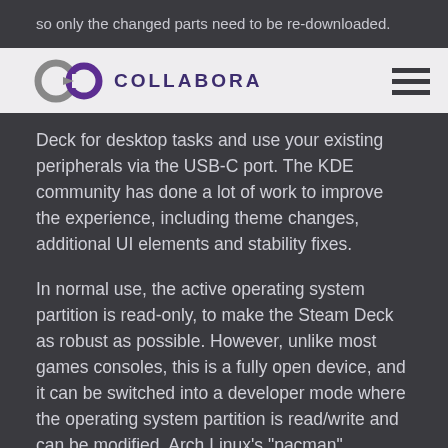so only the changed parts need to be re-downloaded.
[Figure (logo): Collabora logo with C and O letters in grey and purple, followed by COLLABORA text in dark purple, and a hamburger menu icon on the right]
...for non-gaming needs, the device comes with KDE Plasma Desktop pre-installed, allowing you to use the Deck for desktop tasks and use your existing peripherals via the USB-C port. The KDE community has done a lot of work to improve the experience, including theme changes, additional UI elements and stability fixes.
In normal use, the active operating system partition is read-only, to make the Steam Deck as robust as possible. However, unlike most games consoles, this is a fully open device, and it can be switched into a developer mode where the operating system partition is read/write and can be modified. Arch Linux's "pacman" package manager is available for use in developer mode.
Of course, none of this is very interesting without some games, and in addition to the native Linux titles available on Steam, the Steam Deck can also run many games that were built for Windows. It does this using Proton, a